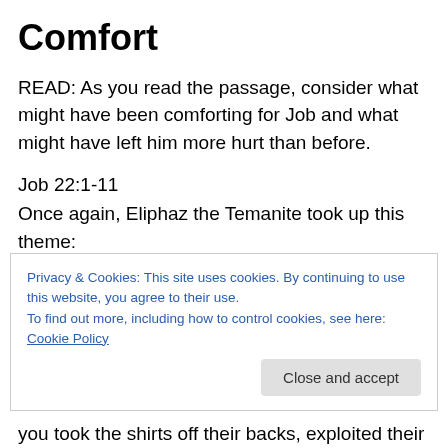Comfort
READ: As you read the passage, consider what might have been comforting for Job and what might have left him more hurt than before.
Job 22:1-11
Once again, Eliphaz the Temanite took up this theme: “Are any of us strong enough to give God a hand, or smart enough to give him advice? So what if you were righteous – would God Almighty even notice? Even if you gave a
Privacy & Cookies: This site uses cookies. By continuing to use this website, you agree to their use.
To find out more, including how to control cookies, see here: Cookie Policy
you took the shirts off their backs, exploited their